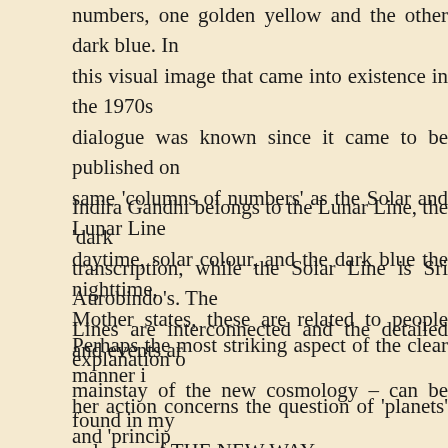numbers, one golden yellow and the other dark blue. In this visual image that came into existence in the 1970s dialogue was known since it came to be published on same 'columns of numbers' as the Solar and Lunar Line daytime, solar colour, and the dark blue the nighttime, Mother states, these are related to people and events ar
Indira Gandhi belongs to the Lunar Line, the 'dark transcription, while the Solar Line is Sri Aurobindo's. The Lines are interconnected and the detailed explanation o mainstay of the new cosmology – can be found in my volumes of THE NEW WAY.
Perhaps the most striking aspect of the clear manner i her action concerns the question of 'planets' and 'princip possibility of a planetary connection, but she was e correspondence. For it is a fact that though celestia formulation, they are employed quite differently than in t